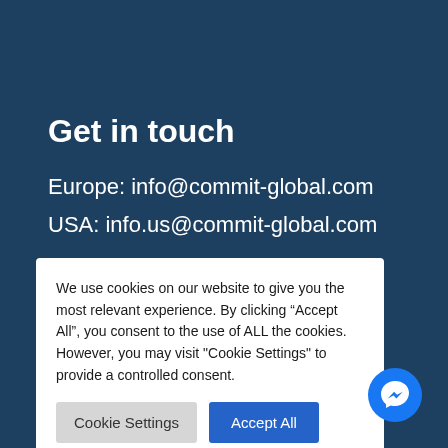Get in touch
Europe: info@commit-global.com
USA: info.us@commit-global.com
We use cookies on our website to give you the most relevant experience. By clicking “Accept All”, you consent to the use of ALL the cookies. However, you may visit "Cookie Settings" to provide a controlled consent.
Cookie Settings
Accept All
[Figure (illustration): Blue circular Messenger chat icon button in bottom right corner]